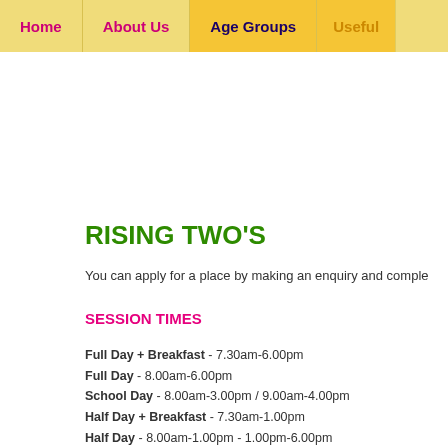Home | About Us | Age Groups | Useful
RISING TWO'S
You can apply for a place by making an enquiry and comple
SESSION TIMES
Full Day + Breakfast - 7.30am-6.00pm
Full Day - 8.00am-6.00pm
School Day - 8.00am-3.00pm / 9.00am-4.00pm
Half Day + Breakfast - 7.30am-1.00pm
Half Day - 8.00am-1.00pm - 1.00pm-6.00pm